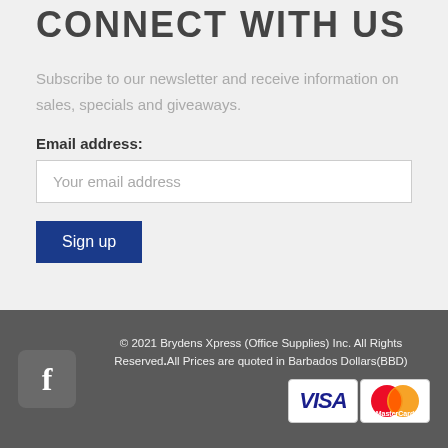CONNECT WITH US
Subscribe to our newsletter and receive information on sales, specials and giveaways.
Email address:
Your email address
Sign up
© 2021 Brydens Xpress (Office Supplies) Inc. All Rights Reserved. All Prices are quoted in Barbados Dollars(BBD)
[Figure (logo): Facebook icon button and Visa/Mastercard payment logos]